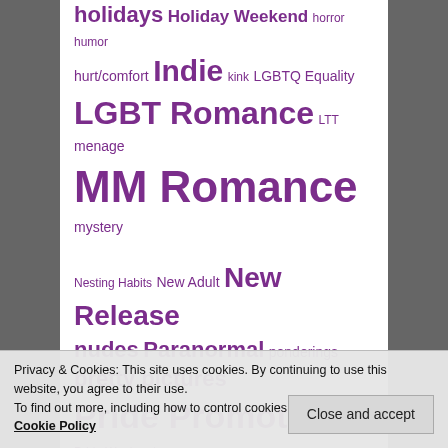holidays Holiday Weekend horror humor hurt/comfort Indie kink LGBTQ Equality LGBT Romance LTT menage MM Romance mystery Nesting Habits New Adult New Release nudes Paranormal ponderings pretty pictures Pride Promotions Pride Weekend promotions Safe House SciFi series short story
Privacy & Cookies: This site uses cookies. By continuing to use this website, you agree to their use.
To find out more, including how to control cookies, see here:
Cookie Policy